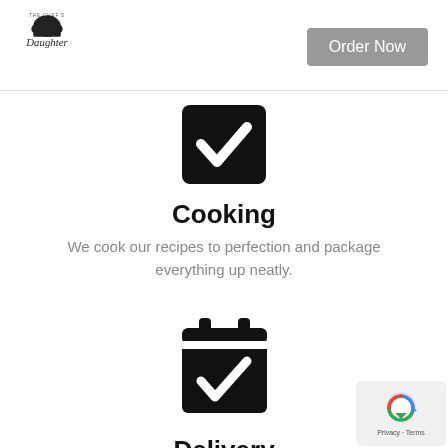[Figure (logo): The Chef's Daughter logo with chef hat icon and text]
[Figure (illustration): Black square icon with white checkmark representing Cooking step]
Cooking
We cook our recipes to perfection and package everything up neatly.
[Figure (illustration): Black calendar icon with white checkmark representing Delivery step]
Delivery
Delivery